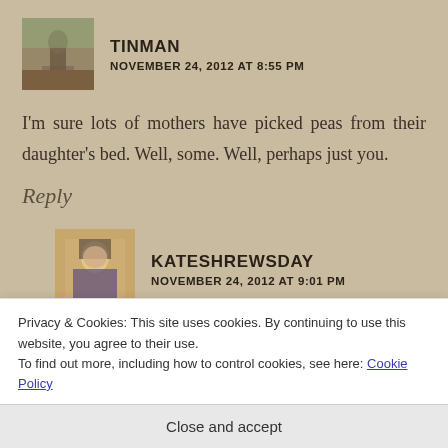[Figure (photo): Avatar photo of Tinman — outdoor statue/sculpture in a park setting]
TINMAN
NOVEMBER 24, 2012 AT 8:55 PM
I'm sure lots of mothers have picked peas from their daughter's bed. Well, some. Well, perhaps just you.
Reply
[Figure (photo): Avatar photo of Kateshrewsday — medieval painting of a nun or female saint]
KATESHREWSDAY
NOVEMBER 24, 2012 AT 9:01 PM
Privacy & Cookies: This site uses cookies. By continuing to use this website, you agree to their use.
To find out more, including how to control cookies, see here: Cookie Policy
Close and accept